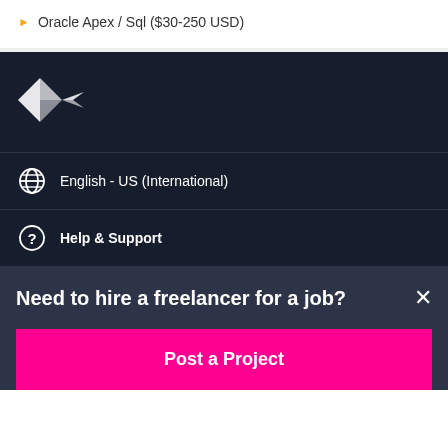Oracle Apex / Sql ($30-250 USD)
[Figure (logo): Freelancer logo - white bird/plane icon on dark navy background]
English - US (International)
Help & Support
Need to hire a freelancer for a job?
Post a Project